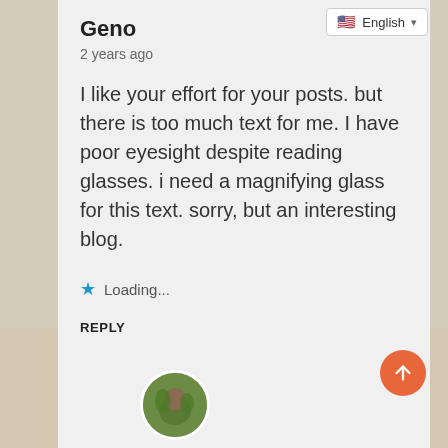[Figure (screenshot): Language selector dropdown showing English with US flag icon]
Geno
2 years ago
I like your effort for your posts. but there is too much text for me. I have poor eyesight despite reading glasses. i need a magnifying glass for this text. sorry, but an interesting blog.
Loading...
REPLY
[Figure (photo): Circular avatar photo of a person surrounded by greenery, partially visible at bottom of page]